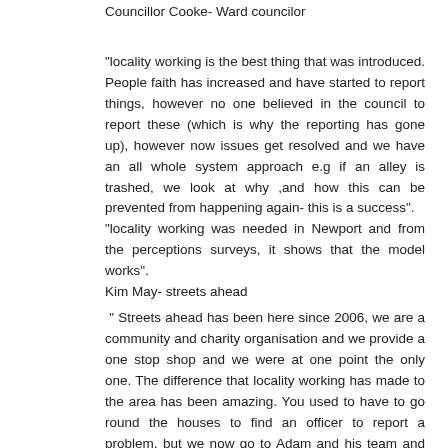Councillor Cooke- Ward councilor
“locality working is the best thing that was introduced. People faith has increased and have started to report things, however no one believed in the council to report these (which is why the reporting has gone up), however now issues get resolved and we have an all whole system approach e.g if an alley is trashed, we look at why ,and how this can be prevented from happening again- this is a success”.
“locality working was needed in Newport and from the perceptions surveys, it shows that the model works”.
Kim May- streets ahead
“ Streets ahead has been here since 2006, we are a community and charity organisation and we provide a one stop shop and we were at one point the only one. The difference that locality working has made to the area has been amazing. You used to have to go round the houses to find an officer to report a problem, but we now go to Adam and his team and we know that things will be sorted. Residents feel safer and I am really pleased that locality is continuing as